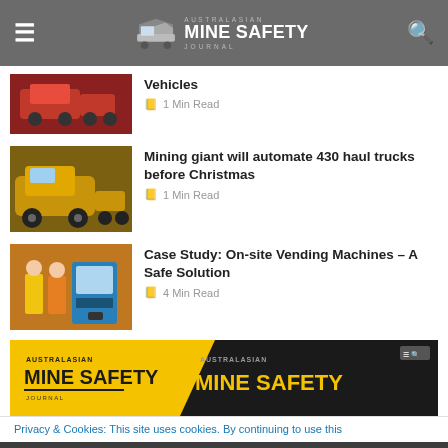AUSTRALASIAN MINE SAFETY JOURNAL
Vehicles — 1 Min Read
Mining giant will automate 430 haul trucks before Christmas — 1 Min Read
Case Study: On-site Vending Machines – A Safe Solution — 4 Min Read
[Figure (illustration): Australasian Mine Safety Journal advertisement banner with yellow background and dark panel showing magazine covers]
Privacy & Cookies: This site uses cookies. By continuing to use this
We use cookies to ensure that we give you the best experience on our website. If you continue to use this site we will assume that you are happy with it.
Ok